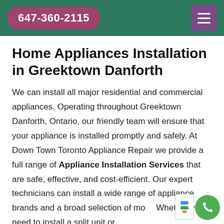647-360-2115
Home Appliances Installation in Greektown Danforth
We can install all major residential and commercial appliances. Operating throughout Greektown Danforth, Ontario, our friendly team will ensure that your appliance is installed promptly and safely. At Down Town Toronto Appliance Repair we provide a full range of Appliance Installation Services that are safe, effective, and cost-efficient. Our expert technicians can install a wide range of appliance brands and a broad selection of mo... Whether you need to install a split unit or